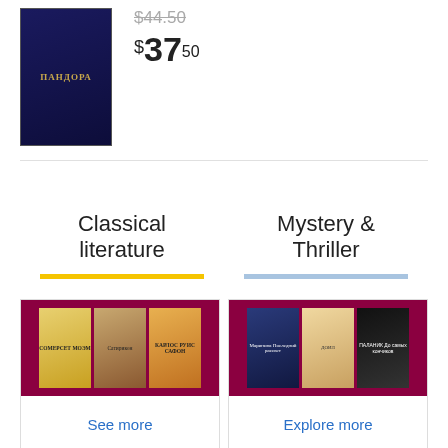[Figure (photo): Book cover for ПАНДОРА with dark blue background and gold text]
$44.50 (strikethrough)
$37.50
Classical literature
Mystery & Thriller
[Figure (photo): Three book covers: Сомерсет Моэм, Сатирикон, Карлос Руис Сафон]
See more
[Figure (photo): Three book covers: Маринина Последний рассвет, Дойл, Паланик До самых кончиков]
Explore more